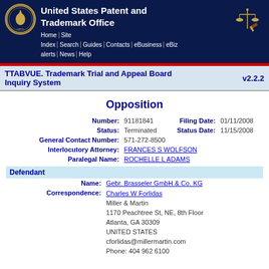United States Patent and Trademark Office
TTABVUE. Trademark Trial and Appeal Board Inquiry System v2.2.2
Opposition
| Number: | 91181841 | Filing Date: | 01/11/2008 |
| Status: | Terminated | Status Date: | 11/15/2008 |
| General Contact Number: | 571-272-8500 |  |  |
| Interlocutory Attorney: | FRANCES S WOLFSON |  |  |
| Paralegal Name: | ROCHELLE L ADAMS |  |  |
Defendant
| Name: | Gebr. Brasseler GmbH & Co. KG |
| Correspondence: | Charles W Forlidas
Miller & Martin
1170 Peachtree St, NE, 8th Floor
Atlanta, GA 30309
UNITED STATES
cforlidas@millermartin.com
Phone: 404 962 6100 |